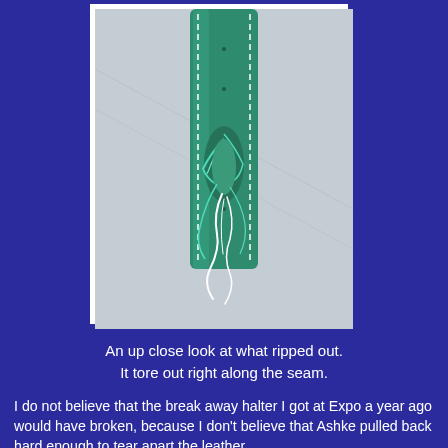[Figure (photo): Close-up photograph of a green leather halter strap with white stitching along the seam, showing the strap torn and frayed along the seam line, with loose white threads hanging from the tear point. The background is a light grey/blue surface.]
An up close look at what ripped out.
It tore out right along the seam.
I do not believe that the break away halter I got at Expo a year ago would have broken, because I don't believe that Ashke pulled back hard enough to tear apart the leather seam, and I think this is a defect in the materials used.